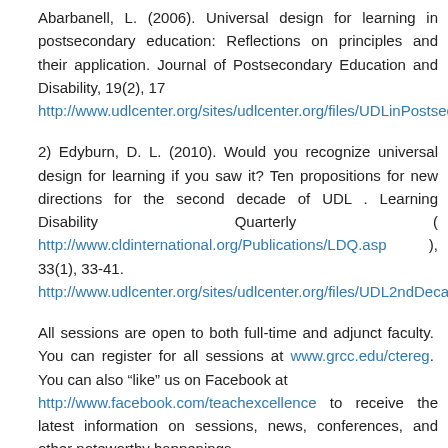Abarbanell, L. (2006). Universal design for learning in postsecondary education: Reflections on principles and their application. Journal of Postsecondary Education and Disability, 19(2), 17 http://www.udlcenter.org/sites/udlcenter.org/files/UDLinPostsecond
2) Edyburn, D. L. (2010). Would you recognize universal design for learning if you saw it? Ten propositions for new directions for the second decade of UDL . Learning Disability Quarterly ( http://www.cldinternational.org/Publications/LDQ.asp ), 33(1), 33-41. http://www.udlcenter.org/sites/udlcenter.org/files/UDL2ndDecade_0
All sessions are open to both full-time and adjunct faculty. You can register for all sessions at www.grcc.edu/ctereg. You can also “like” us on Facebook at http://www.facebook.com/teachexcellence to receive the latest information on sessions, news, conferences, and other noteworthy happenings.